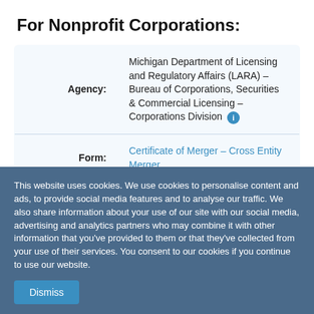For Nonprofit Corporations:
|  |  |
| --- | --- |
| Agency: | Michigan Department of Licensing and Regulatory Affairs (LARA) – Bureau of Corporations, Securities & Commercial Licensing – Corporations Division ℹ |
| Form: | Certificate of Merger – Cross Entity Merger |
| Agency Fee: | $50 per corporation |
This website uses cookies. We use cookies to personalise content and ads, to provide social media features and to analyse our traffic. We also share information about your use of our site with our social media, advertising and analytics partners who may combine it with other information that you've provided to them or that they've collected from your use of their services. You consent to our cookies if you continue to use our website.
Dismiss